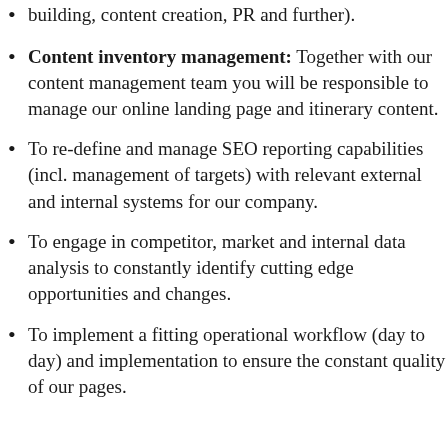building, content creation, PR and further).
Content inventory management: Together with our content management team you will be responsible to manage our online landing page and itinerary content.
To re-define and manage SEO reporting capabilities (incl. management of targets) with relevant external and internal systems for our company.
To engage in competitor, market and internal data analysis to constantly identify cutting edge opportunities and changes.
To implement a fitting operational workflow (day to day) and implementation to ensure the constant quality of our pages.